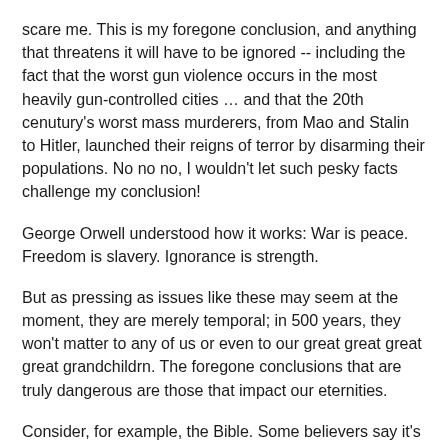scare me. This is my foregone conclusion, and anything that threatens it will have to be ignored -- including the fact that the worst gun violence occurs in the most heavily gun-controlled cities … and that the 20th cenutury's worst mass murderers, from Mao and Stalin to Hitler, launched their reigns of terror by disarming their populations. No no no, I wouldn't let such pesky facts challenge my conclusion!
George Orwell understood how it works: War is peace. Freedom is slavery. Ignorance is strength.
But as pressing as issues like these may seem at the moment, they are merely temporal; in 500 years, they won't matter to any of us or even to our great great great great grandchildrn. The foregone conclusions that are truly dangerous are those that impact our eternities.
Consider, for example, the Bible. Some believers say it's an acronym for Basic Instructions Before Leaving Earth, and I think that's exactly right. Demonstrably inspired and inerrant, it covers the history of mankind from beginning to end, and advises us in no uncertain terms about to reach of the conclusions we need to protect humanity the